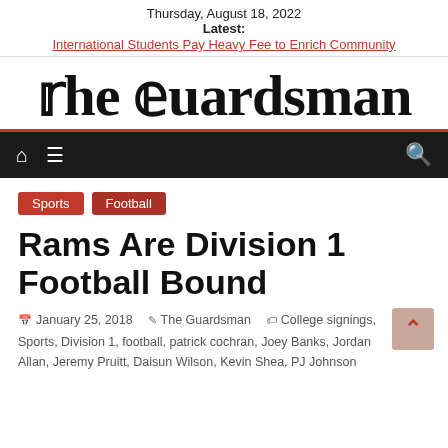Thursday, August 18, 2022
Latest:
International Students Pay Heavy Fee to Enrich Community
The Guardsman
[Figure (other): Navigation bar with home icon, menu icon, and search icon on dark background]
Sports
Football
Rams Are Division 1 Football Bound
January 25, 2018  The Guardsman  College signings, Sports, Division 1, football, patrick cochran, Joey Banks, Jordan Allan, Jeremy Pruitt, Daisun Wilson, Kevin Shea, PJ Johnson